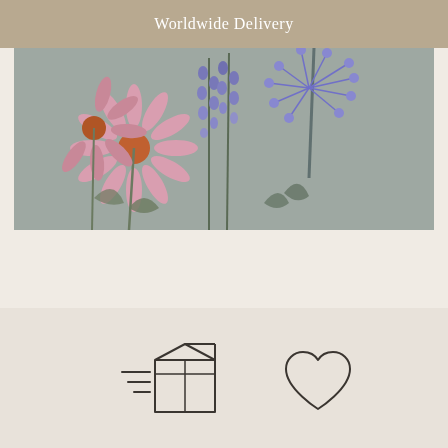Worldwide Delivery
[Figure (illustration): Watercolor botanical illustration showing wildflowers including a pink daisy/echinacea, lavender spikes, and purple agapanthus-like flowers with green stems and leaves on a muted grey-green background]
[Figure (infographic): Bottom section with two outline icons: a shipping box with speed lines on the left, and a heart outline on the right, on a light beige background]